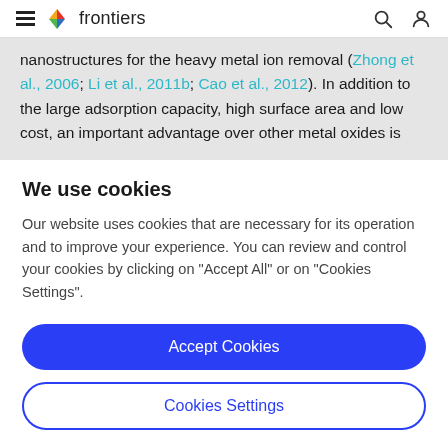frontiers
nanostructures for the heavy metal ion removal (Zhong et al., 2006; Li et al., 2011b; Cao et al., 2012). In addition to the large adsorption capacity, high surface area and low cost, an important advantage over other metal oxides is
We use cookies
Our website uses cookies that are necessary for its operation and to improve your experience. You can review and control your cookies by clicking on "Accept All" or on "Cookies Settings".
Accept Cookies
Cookies Settings